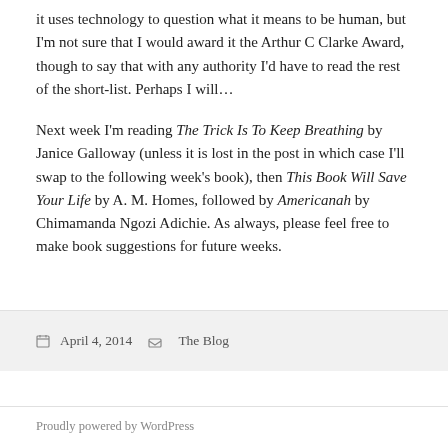it uses technology to question what it means to be human, but I'm not sure that I would award it the Arthur C Clarke Award, though to say that with any authority I'd have to read the rest of the short-list. Perhaps I will…
Next week I'm reading The Trick Is To Keep Breathing by Janice Galloway (unless it is lost in the post in which case I'll swap to the following week's book), then This Book Will Save Your Life by A. M. Homes, followed by Americanah by Chimamanda Ngozi Adichie. As always, please feel free to make book suggestions for future weeks.
April 4, 2014   The Blog
Proudly powered by WordPress